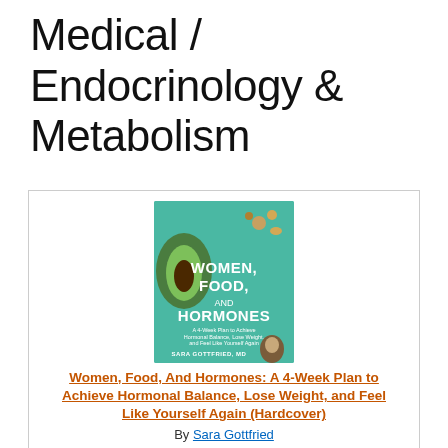Medical / Endocrinology & Metabolism
[Figure (illustration): Book cover of 'Women, Food, and Hormones' by Sara Gottfried MD, teal background with avocado and food imagery]
Women, Food, And Hormones: A 4-Week Plan to Achieve Hormonal Balance, Lose Weight, and Feel Like Yourself Again (Hardcover)
By Sara Gottfried
$28.00
Add to Cart
Add to Wish List